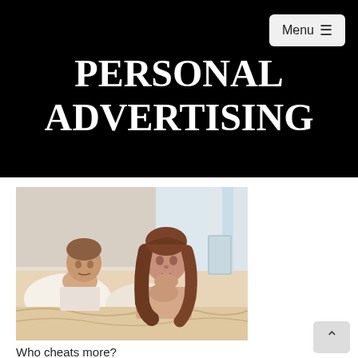PERSONAL ADVERTISING
[Figure (photo): A man and woman lying on a bed, appearing distant and upset with each other, in a relationship conflict scene.]
Who cheats more?
Cheating happens. It's never pretty and more often than not it leaves relationships in ruins with both parties badly hurt. If you've lost your boyfriend or girlfriend to